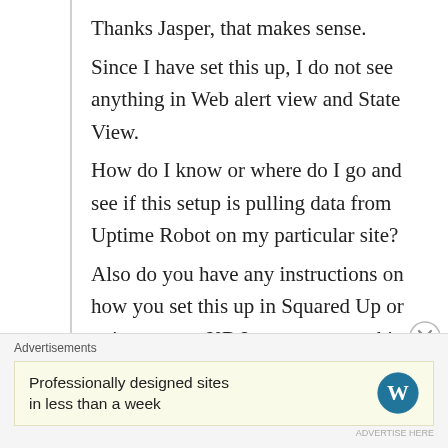Thanks Jasper, that makes sense.
Since I have set this up, I do not see anything in Web alert view and State View.
How do I know or where do I go and see if this setup is pulling data from Uptime Robot on my particular site?
Also do you have any instructions on how you set this up in Squared Up or point me to a KB I can use to set this and any other URL monitoring using SquaredUp dashboard.
I am trialling out v3 at the moment.
Regards
Advertisements
Professionally designed sites in less than a week